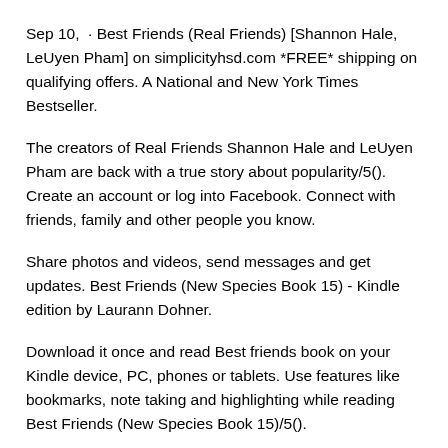Sep 10,  · Best Friends (Real Friends) [Shannon Hale, LeUyen Pham] on simplicityhsd.com *FREE* shipping on qualifying offers. A National and New York Times Bestseller.
The creators of Real Friends Shannon Hale and LeUyen Pham are back with a true story about popularity/5(). Create an account or log into Facebook. Connect with friends, family and other people you know.
Share photos and videos, send messages and get updates. Best Friends (New Species Book 15) - Kindle edition by Laurann Dohner.
Download it once and read Best friends book on your Kindle device, PC, phones or tablets. Use features like bookmarks, note taking and highlighting while reading Best Friends (New Species Book 15)/5().
Best Friends isn't as strong as the first installment, Real Friends, but it's still emotional and will be relatable to many. This continues where Real Friends left off: This time Shannon Hale is a sixth-grader and has high hopes that this school year will be much better than the previous.